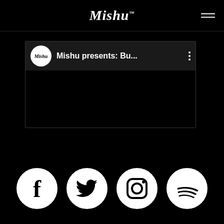Mishu
[Figure (screenshot): YouTube playlist embed showing 'Mishu presents: Bu...' with Mishu circular logo avatar and three-dot menu icon]
[Figure (infographic): Four white circular social media icons on black background: Facebook, Twitter, Instagram, Spotify]